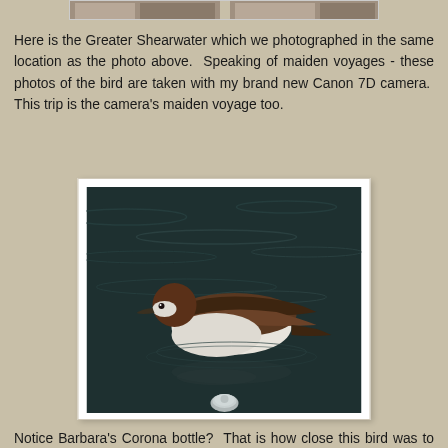[Figure (photo): Partial top strip showing a cropped photograph, likely of a bird or scene on water, cut off at top of page.]
Here is the Greater Shearwater which we photographed in the same location as the photo above.  Speaking of maiden voyages - these photos of the bird are taken with my brand new Canon 7D camera.  This trip is the camera's maiden voyage too.
[Figure (photo): Photograph of a Greater Shearwater bird floating on dark water. The bird has a brown head, white underbelly, and brown/dark wings. A Corona bottle is partially visible at the bottom of the image, indicating how close the bird was to the boat.]
Notice Barbara's Corona bottle?  That is how close this bird was to our boat. This photo is not cropped at all.  The bird didn't mind having it's photo taken or our talking or anything.